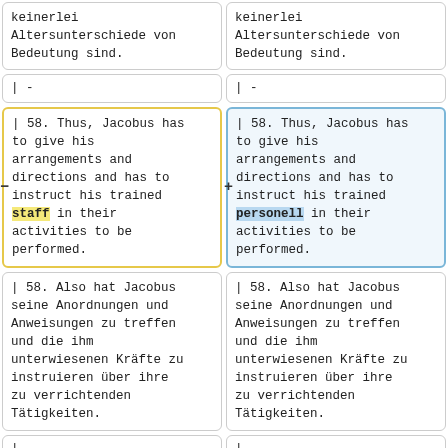keinerlei Altersunterschiede von Bedeutung sind.
keinerlei Altersunterschiede von Bedeutung sind.
|-
|-
| 58. Thus, Jacobus has to give his arrangements and directions and has to instruct his trained staff in their activities to be performed.
| 58. Thus, Jacobus has to give his arrangements and directions and has to instruct his trained personell in their activities to be performed.
| 58. Also hat Jacobus seine Anordnungen und Anweisungen zu treffen und die ihm unterwiesenen Kräfte zu instruieren über ihre zu verrichtenden Tätigkeiten.
| 58. Also hat Jacobus seine Anordnungen und Anweisungen zu treffen und die ihm unterwiesenen Kräfte zu instruieren über ihre zu verrichtenden Tätigkeiten.
|-
|-